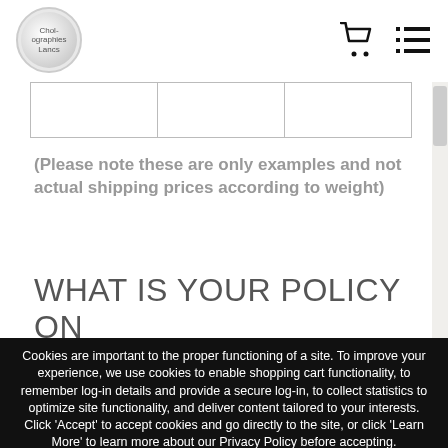Logo and navigation icons (cart, list)
|  |  |  |
(Please note these are only examples and not actual shipping prices according to weight)
WHAT IS YOUR POLICY ON RETURNS/EXCHANGES/REFUNDS?
Cookies are important to the proper functioning of a site. To improve your experience, we use cookies to enable shopping cart functionality, to remember log-in details and provide a secure log-in, to collect statistics to optimize site functionality, and deliver content tailored to your interests. Click 'Accept' to accept cookies and go directly to the site, or click 'Learn More' to learn more about our Privacy Policy before accepting.
Got it!